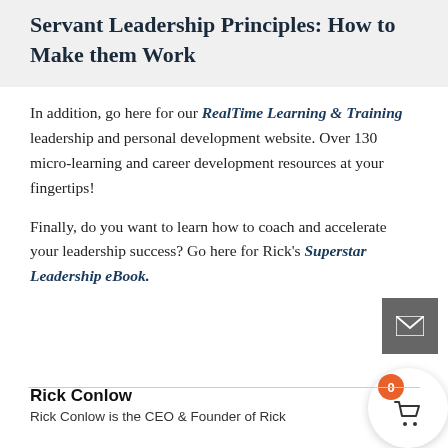Servant Leadership Principles: How to Make them Work
In addition, go here for our RealTime Learning & Training leadership and personal development website. Over 130 micro-learning and career development resources at your fingertips!
Finally, do you want to learn how to coach and accelerate your leadership success? Go here for Rick's Superstar Leadership eBook.
[Figure (other): Email subscribe button (grey square with envelope icon) and shopping cart bubble with orange badge showing 0]
Rick Conlow
Rick Conlow is the CEO & Founder of Rick